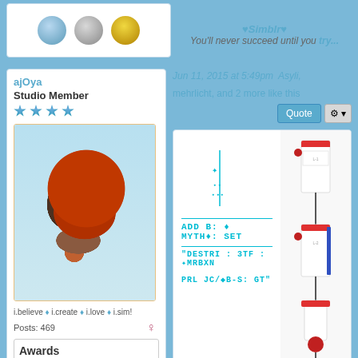♥Simblr♥
You'll never succeed until you try...
ajOya
Studio Member
[Figure (photo): 3D Sims character avatar with red/orange hair updo and chain/net accessory, side profile view]
i.believe ♦ i.create ♦ i.love ♦ i.sim!
Posts: 469
Awards
[Figure (other): Award icons: gift box, camera, Sims plumbob, speech bubble/welcome badge, globe, magnifier, lightbulb]
Jun 11, 2015 at 5:49pm   Asyli,
mehrlicht, and 2 more like this
Quote
[Figure (other): Custom Sims content image showing cyan/teal decorative text and fishing rod / equipment items on right side]